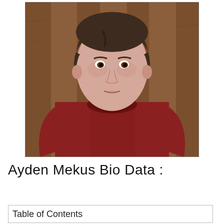[Figure (photo): Young man wearing a dark red/maroon t-shirt, standing in front of a wooden fence/wall, looking directly at camera. Professional headshot style photo.]
Ayden Mekus Bio Data :
Table of Contents